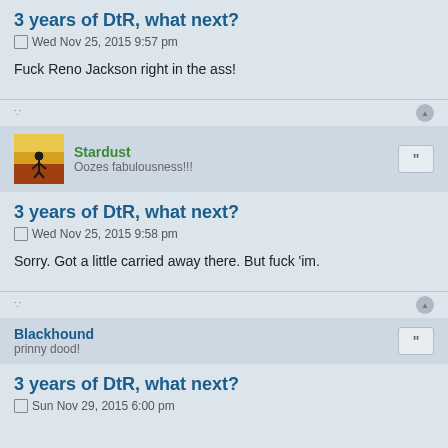3 years of DtR, what next?
Wed Nov 25, 2015 9:57 pm
Fuck Reno Jackson right in the ass!
Stardust
Oozes fabulousness!!!
3 years of DtR, what next?
Wed Nov 25, 2015 9:58 pm
Sorry. Got a little carried away there. But fuck 'im.
Blackhound
prinny dood!
3 years of DtR, what next?
Sun Nov 29, 2015 6:00 pm